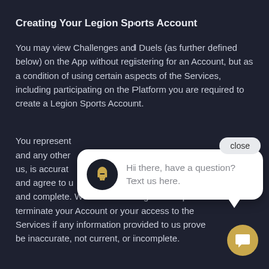Creating Your Legion Sports Account
You may view Challenges and Duels (as further defined below) on the App without registering for an Account, but as a condition of using certain aspects of the Services, including participating on the Platform you are required to create a Legion Sports Account.
You represent that the information you provide us, and any other information you submit to us, is accurate, current, and complete, and agree to update such information to keep it accurate, current and complete. We reserve the right to suspend or terminate your Account or your access to the Services if any information provided to us proves to be inaccurate, not current, or incomplete.
[Figure (screenshot): Chat popup widget with close button. Shows a speech bubble with a Spartan helmet avatar icon and text 'Hi there, have a question? Text us here.' and a gold circular chat button below.]